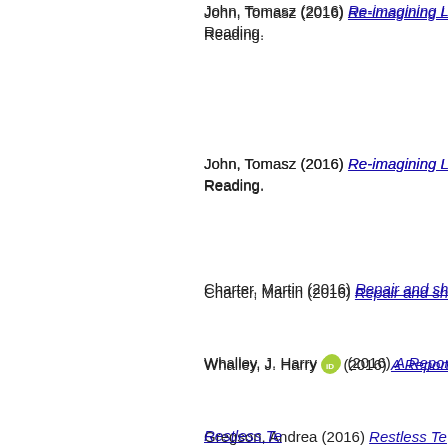John, Tomasz (2016) Re-imagining... Reading.
John, Tomasz (2016) Re-imagining... Reading.
Charter, Martin (2016) Repair and sh...
Whalley, J. Harry [ORCID] (2016) A Report...
Gregson, Andrea (2016) Restless Te...
Kotting, Andrew (2016) Retro Andre...
Kelly, Conor (2016) Room Sound [Fi...